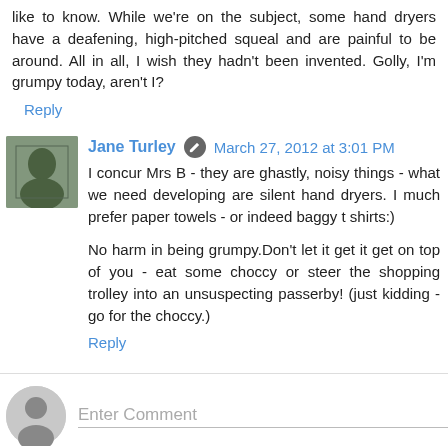like to know. While we're on the subject, some hand dryers have a deafening, high-pitched squeal and are painful to be around. All in all, I wish they hadn't been invented. Golly, I'm grumpy today, aren't I?
Reply
Jane Turley  March 27, 2012 at 3:01 PM
I concur Mrs B - they are ghastly, noisy things - what we need developing are silent hand dryers. I much prefer paper towels - or indeed baggy t shirts:)
No harm in being grumpy.Don't let it get it get on top of you - eat some choccy or steer the shopping trolley into an unsuspecting passerby! (just kidding - go for the choccy.)
Reply
Enter Comment